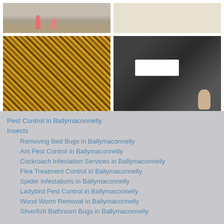[Figure (photo): Top-left: Flamingos on a sandy beach]
[Figure (photo): Top-right: Close-up of ants on white background]
[Figure (photo): Bottom-left: Close-up of a swarm of bees on honeycomb]
[Figure (photo): Bottom-right: Person placing a black pest control trap box on grass]
Pest Control in Ballymaconnelly
Insects
Removing Bed Bugs in Ballymaconnelly
Ant Pest Control in Ballymaconnelly
Cockroach Infestation Services in Ballymaconnelly
Flea Treatment Control in Ballymaconnelly
Spider Infestations in Ballymaconnelly
Ladybird Pest Control in Ballymaconnelly
Wood Worm Removal in Ballymaconnelly
Silverfish Bathroom Bugs in Ballymaconnelly